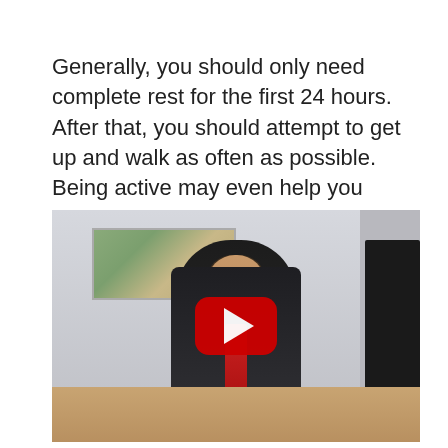Generally, you should only need complete rest for the first 24 hours. After that, you should attempt to get up and walk as often as possible. Being active may even help you recover faster.
[Figure (photo): A video thumbnail showing a male doctor or physician in a dark suit with a red patterned tie, seated at a desk in an office setting, with a painting on the wall behind him. A YouTube-style red play button overlay is displayed in the center of the image.]